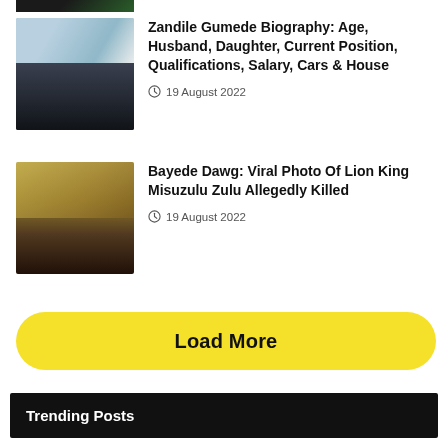[Figure (photo): Cropped bottom of a photo (top of page, partial)]
[Figure (photo): Woman in black top speaking at a microphone outdoors with blue/yellow decorations in background]
Zandile Gumede Biography: Age, Husband, Daughter, Current Position, Qualifications, Salary, Cars & House
19 August 2022
[Figure (photo): Man in leopard print traditional attire and face mask surrounded by people]
Bayede Dawg: Viral Photo Of Lion King Misuzulu Zulu Allegedly Killed
19 August 2022
Load More
Trending Posts